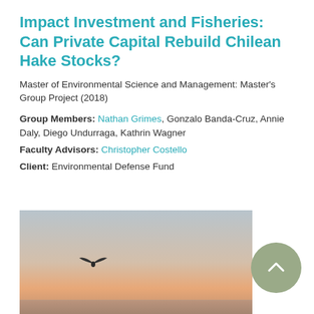Impact Investment and Fisheries: Can Private Capital Rebuild Chilean Hake Stocks?
Master of Environmental Science and Management: Master's Group Project (2018)
Group Members: Nathan Grimes, Gonzalo Banda-Cruz, Annie Daly, Diego Undurraga, Kathrin Wagner
Faculty Advisors: Christopher Costello
Client: Environmental Defense Fund
[Figure (photo): A sunset or sunrise seascape photograph with a warm gradient sky (grey-blue fading to peach and warm orange/brown near the horizon), a silhouette of a flying bird in the center-left area, and a calm water surface at the bottom.]